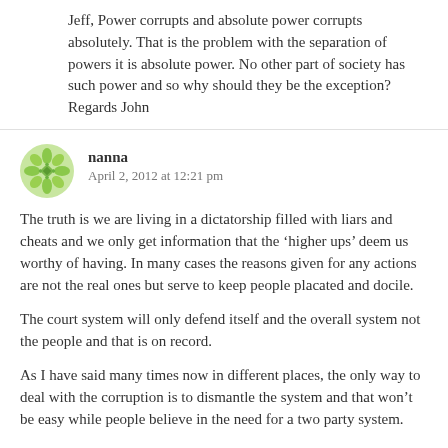Jeff, Power corrupts and absolute power corrupts absolutely. That is the problem with the separation of powers it is absolute power. No other part of society has such power and so why should they be the exception? Regards John
nanna
April 2, 2012 at 12:21 pm
The truth is we are living in a dictatorship filled with liars and cheats and we only get information that the ‘higher ups’ deem us worthy of having. In many cases the reasons given for any actions are not the real ones but serve to keep people placated and docile.
The court system will only defend itself and the overall system not the people and that is on record.
As I have said many times now in different places, the only way to deal with the corruption is to dismantle the system and that won’t be easy while people believe in the need for a two party system.